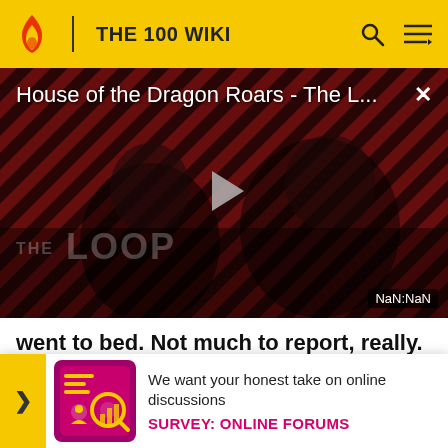THE 100 WIKI
[Figure (screenshot): Video thumbnail for 'House of the Dragon Roars - The L...' showing dark figures with diagonal stripe pattern background and THE LOOP watermark. Shows play button in center and NaN:NaN timestamp.]
went to bed. Not much to report, really. My algae farm is awesome. No surprise there. Oh. I'm able to moni... geolo... r us to go
[Figure (infographic): Survey banner with yellow arrow, colorful survey icon, text 'We want your honest take on online discussions' and 'SURVEY: ONLINE FORUMS' link]